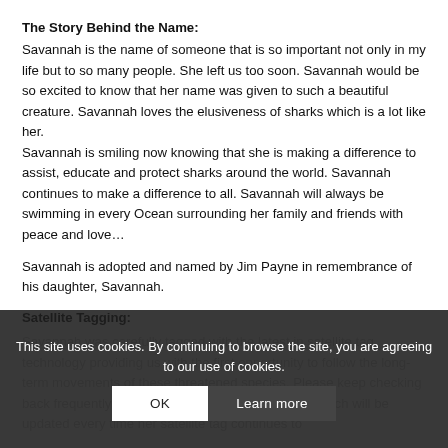The Story Behind the Name:
Savannah is the name of someone that is so important not only in my life but to so many people. She left us too soon. Savannah would be so excited to know that her name was given to such a beautiful creature. Savannah loves the elusiveness of sharks which is a lot like her.
Savannah is smiling now knowing that she is making a difference to assist, educate and protect sharks around the world. Savannah continues to make a difference to all. Savannah will always be swimming in every Ocean surrounding her family and friends with peace and love…
Savannah is adopted and named by Jim Payne in remembrance of his daughter, Savannah.
Satellite Tagging:
Savannah was carefully tagged with the latest in satellite tag technology providing us with the first opportunity to follow the long-term movements of these threatened species. Please keep checking back frequently to follow Savannah's movements, which will be updated every time her satellite tag continues to
This site uses cookies. By continuing to browse the site, you are agreeing to our use of cookies.